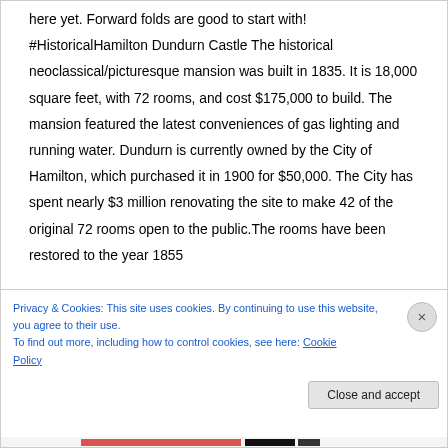here yet. Forward folds are good to start with! #HistoricalHamilton Dundurn Castle The historical neoclassical/picturesque mansion was built in 1835. It is 18,000 square feet, with 72 rooms, and cost $175,000 to build. The mansion featured the latest conveniences of gas lighting and running water. Dundurn is currently owned by the City of Hamilton, which purchased it in 1900 for $50,000. The City has spent nearly $3 million renovating the site to make 42 of the original 72 rooms open to the public.The rooms have been restored to the year 1855
Privacy & Cookies: This site uses cookies. By continuing to use this website, you agree to their use.
To find out more, including how to control cookies, see here: Cookie Policy
Close and accept